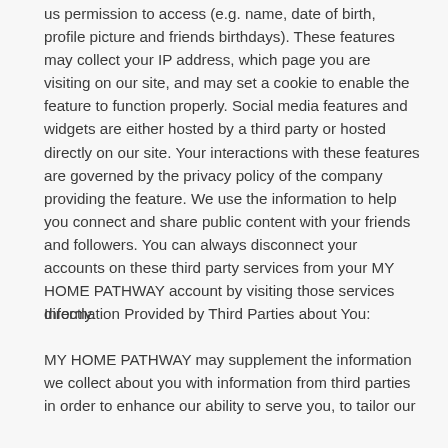us permission to access (e.g. name, date of birth, profile picture and friends birthdays). These features may collect your IP address, which page you are visiting on our site, and may set a cookie to enable the feature to function properly. Social media features and widgets are either hosted by a third party or hosted directly on our site. Your interactions with these features are governed by the privacy policy of the company providing the feature. We use the information to help you connect and share public content with your friends and followers. You can always disconnect your accounts on these third party services from your MY HOME PATHWAY account by visiting those services directly.
Information Provided by Third Parties about You:
MY HOME PATHWAY may supplement the information we collect about you with information from third parties in order to enhance our ability to serve you, to tailor our